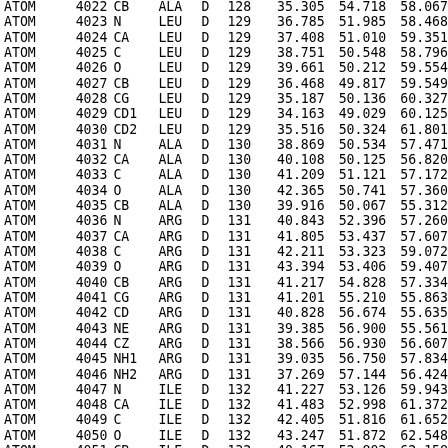| Record | Serial | Name | ResName | Chain | ResSeq | X | Y | Z |
| --- | --- | --- | --- | --- | --- | --- | --- | --- |
| ATOM | 4022 | CB | ALA | D | 128 | 35.305 | 54.718 | 58.067 |
| ATOM | 4023 | N | LEU | D | 129 | 36.785 | 51.985 | 58.468 |
| ATOM | 4024 | CA | LEU | D | 129 | 37.408 | 51.010 | 59.351 |
| ATOM | 4025 | C | LEU | D | 129 | 38.751 | 50.548 | 58.796 |
| ATOM | 4026 | O | LEU | D | 129 | 39.661 | 50.212 | 59.554 |
| ATOM | 4027 | CB | LEU | D | 129 | 36.468 | 49.817 | 59.549 |
| ATOM | 4028 | CG | LEU | D | 129 | 35.187 | 50.136 | 60.327 |
| ATOM | 4029 | CD1 | LEU | D | 129 | 34.163 | 49.029 | 60.125 |
| ATOM | 4030 | CD2 | LEU | D | 129 | 35.516 | 50.324 | 61.801 |
| ATOM | 4031 | N | ALA | D | 130 | 38.869 | 50.534 | 57.471 |
| ATOM | 4032 | CA | ALA | D | 130 | 40.108 | 50.125 | 56.820 |
| ATOM | 4033 | C | ALA | D | 130 | 41.209 | 51.121 | 57.172 |
| ATOM | 4034 | O | ALA | D | 130 | 42.365 | 50.741 | 57.360 |
| ATOM | 4035 | CB | ALA | D | 130 | 39.916 | 50.067 | 55.312 |
| ATOM | 4036 | N | ARG | D | 131 | 40.843 | 52.396 | 57.260 |
| ATOM | 4037 | CA | ARG | D | 131 | 41.805 | 53.437 | 57.607 |
| ATOM | 4038 | C | ARG | D | 131 | 42.211 | 53.323 | 59.072 |
| ATOM | 4039 | O | ARG | D | 131 | 43.394 | 53.406 | 59.407 |
| ATOM | 4040 | CB | ARG | D | 131 | 41.217 | 54.828 | 57.334 |
| ATOM | 4041 | CG | ARG | D | 131 | 41.201 | 55.210 | 55.863 |
| ATOM | 4042 | CD | ARG | D | 131 | 40.828 | 56.674 | 55.635 |
| ATOM | 4043 | NE | ARG | D | 131 | 39.385 | 56.900 | 55.561 |
| ATOM | 4044 | CZ | ARG | D | 131 | 38.566 | 56.930 | 56.607 |
| ATOM | 4045 | NH1 | ARG | D | 131 | 39.035 | 56.750 | 57.834 |
| ATOM | 4046 | NH2 | ARG | D | 131 | 37.269 | 57.144 | 56.424 |
| ATOM | 4047 | N | ILE | D | 132 | 41.227 | 53.126 | 59.943 |
| ATOM | 4048 | CA | ILE | D | 132 | 41.483 | 52.998 | 61.372 |
| ATOM | 4049 | C | ILE | D | 132 | 42.405 | 51.816 | 61.652 |
| ATOM | 4050 | O | ILE | D | 132 | 43.247 | 51.872 | 62.548 |
| ATOM | 4051 | CB | ILE | D | 132 | 40.167 | 52.802 | 62.158 |